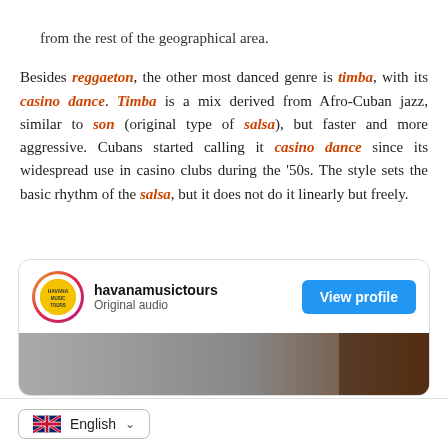from the rest of the geographical area.
Besides reggaeton, the other most danced genre is timba, with its casino dance. Timba is a mix derived from Afro-Cuban jazz, similar to son (original type of salsa), but faster and more aggressive. Cubans started calling it casino dance since its widespread use in casino clubs during the '50s. The style sets the basic rhythm of the salsa, but it does not do it linearly but freely.
[Figure (screenshot): Social media embed card for havanamusictours with 'View profile' button and a partial image below showing a room interior, followed by a language selector showing English with UK flag.]